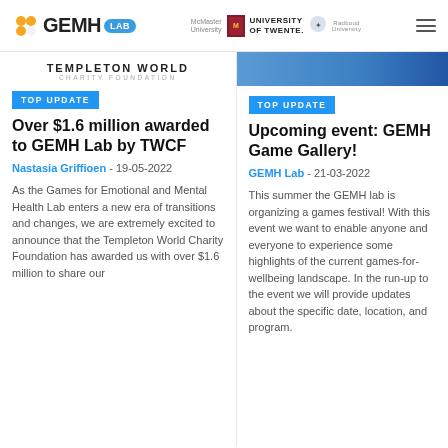GEMH LAB — McMaster University, University of Twente, Radboud University
[Figure (logo): Templeton World Charity Foundation logo with text 'TEMPLETON WORLD CHARITY FOUNDATION']
TOP UPDATE
Over $1.6 million awarded to GEMH Lab by TWCF
Nastasia Griffioen - 19-05-2022
As the Games for Emotional and Mental Health Lab enters a new era of transitions and changes, we are extremely excited to announce that the Templeton World Charity Foundation has awarded us with over $1.6 million to share our
TOP UPDATE
Upcoming event: GEMH Game Gallery!
GEMH Lab - 21-03-2022
This summer the GEMH lab is organizing a games festival! With this event we want to enable anyone and everyone to experience some highlights of the current games-for-wellbeing landscape. In the run-up to the event we will provide updates about the specific date, location, and program.